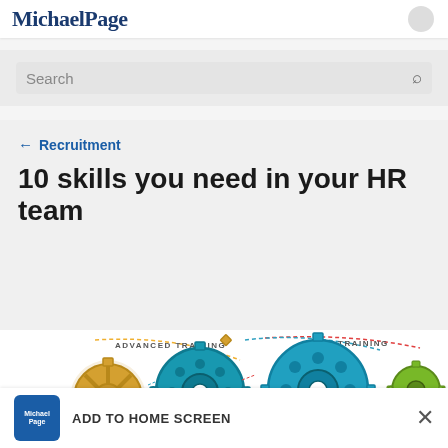MichaelPage
Search
← Recruitment
10 skills you need in your HR team
[Figure (illustration): Colorful interlocking gear cogs illustration with labels including 'ADVANCED TRAINING' and 'TRAINING'. Gears are colored gold/yellow, red, teal/blue, and green.]
ADD TO HOME SCREEN